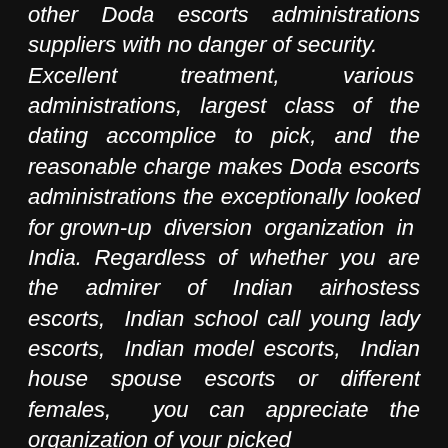other Doda escorts administrations suppliers with no danger of security. Excellent treatment, various administrations, largest class of the dating accomplice to pick, and the reasonable charge makes Doda escorts administrations the exceptionally looked for grown-up diversion organization in India. Regardless of whether you are the admirer of Indian airhostess escorts, Indian school call young lady escorts, Indian model escorts, Indian house spouse escorts or different females, you can appreciate the organization of your picked ...ngle rooftop. ...our significant time and cash ...nurish call girls when Soniya ...ons is accessible to serve you at any area, and whenever. Additionally, you are
[Figure (other): Green 'MSG ME' button with WhatsApp icon, and black 'CALL NOW' button with cyan phone icon]